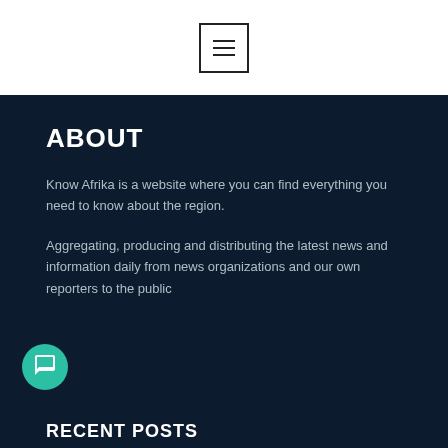[Figure (screenshot): Menu/hamburger button icon in a square border, centered at the top of the page]
ABOUT
Know Afrika is a website where you can find everything you need to know about the region.
Aggregating, producing and distributing the latest news and information daily from news organizations and our own reporters to the public
[Figure (illustration): Green circular chat/message icon button in the bottom-left corner]
RECENT POSTS